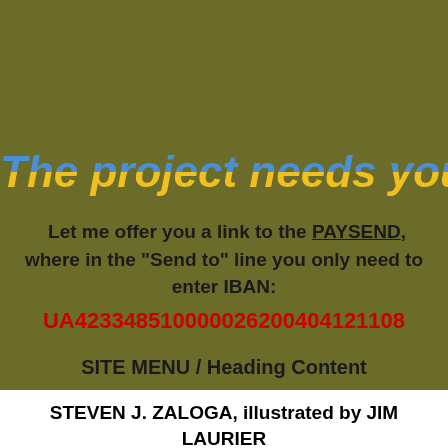The project needs your financ
Let me offer you a link to the PAYSEND, where in the "Send to" line you only need to enter IBAN:
UA423348510000026200404121108
SITE MENU / Heading Content
STEVEN J. ZALOGA, illustrated by JIM LAURIER
V-1 FLYING BOMB. 1942-52. HITLER'S INFAMOUS "DOODLEBUG"